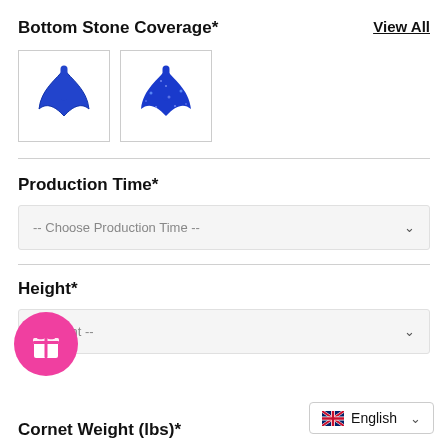Bottom Stone Coverage*
View All
[Figure (photo): Two blue sparkly mermaid tail / Y-shaped bottom pieces, shown as product thumbnails side by side]
Production Time*
-- Choose Production Time --
Height*
e Height --
[Figure (illustration): Pink circular gift/reward button icon with a bow/gift box symbol]
English
Cornet Weight (lbs)*